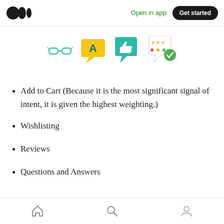Open in app | Get started
[Figure (illustration): Icons strip showing app-related icons: glasses/reading icon, chat bubble with A (translate), thumbs-up chat bubble, star rating with checkmark]
Add to Cart (Because it is the most significant signal of intent, it is given the highest weighting.)
Wishlisting
Reviews
Questions and Answers
Home | Search | Profile